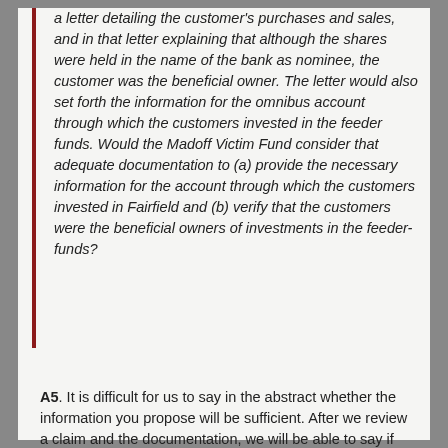a letter detailing the customer's purchases and sales, and in that letter explaining that although the shares were held in the name of the bank as nominee, the customer was the beneficial owner. The letter would also set forth the information for the omnibus account through which the customers invested in the feeder funds. Would the Madoff Victim Fund consider that adequate documentation to (a) provide the necessary information for the account through which the customers invested in Fairfield and (b) verify that the customers were the beneficial owners of investments in the feeder-funds?
A5. It is difficult for us to say in the abstract whether the information you propose will be sufficient. After we review a claim and the documentation, we will be able to say if anything more needs to be provided. But the letters you describe